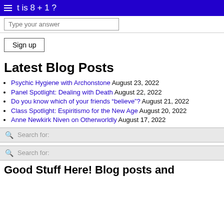What is 8 + 1 ?
Type your answer
Sign up
Latest Blog Posts
Psychic Hygiene with Archonstone August 23, 2022
Panel Spotlight: Dealing with Death August 22, 2022
Do you know which of your friends “believe”? August 21, 2022
Class Spotlight: Espiritismo for the New Age August 20, 2022
Anne Newkirk Niven on Otherworldly August 17, 2022
Search for:
Search for:
Good Stuff Here! Blog posts and